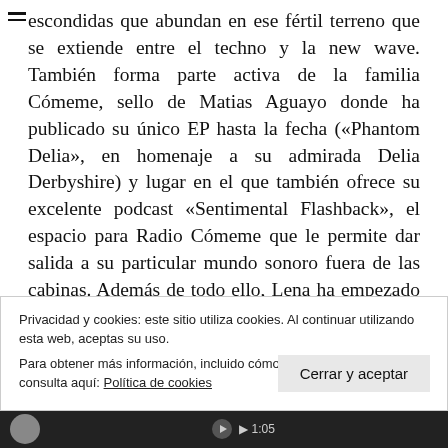escondidas que abundan en ese fértil terreno que se extiende entre el techno y la new wave. También forma parte activa de la familia Cómeme, sello de Matias Aguayo donde ha publicado su único EP hasta la fecha («Phantom Delia», en homenaje a su admirada Delia Derbyshire) y lugar en el que también ofrece su excelente podcast «Sentimental Flashback», el espacio para Radio Cómeme que le permite dar salida a su particular mundo sonoro fuera de las cabinas. Además de todo ello, Lena ha empezado a experimentar con bandas sonoras de composición libre y es una experta intérprete del theremin.
Privacidad y cookies: este sitio utiliza cookies. Al continuar utilizando esta web, aceptas su uso.
Para obtener más información, incluido cómo controlar las cookies, consulta aquí: Política de cookies
Cerrar y aceptar
[Figure (screenshot): Dark bottom media player bar with avatar circle, play controls, and timestamp]